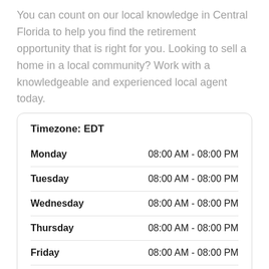You can count on our local knowledge in Central Florida to help you find the retirement opportunity that is right for you. Looking to sell a home in a local community? Work with a knowledgeable and experienced local agent today.
| Day | Hours |
| --- | --- |
| Monday | 08:00 AM - 08:00 PM |
| Tuesday | 08:00 AM - 08:00 PM |
| Wednesday | 08:00 AM - 08:00 PM |
| Thursday | 08:00 AM - 08:00 PM |
| Friday | 08:00 AM - 08:00 PM |
| Saturday | 08:00 AM - 08:00 PM |